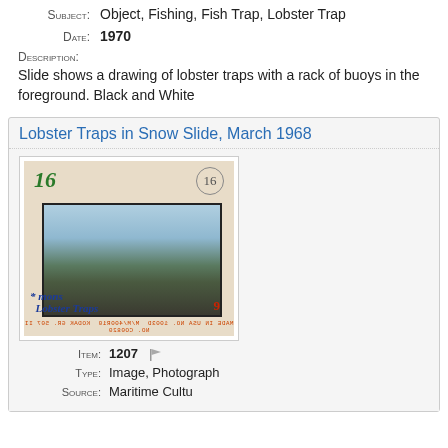Subject: Object, Fishing, Fish Trap, Lobster Trap
Date: 1970
Description: Slide shows a drawing of lobster traps with a rack of buoys in the foreground. Black and White
Lobster Traps in Snow Slide, March 1968
[Figure (photo): Photograph of a slide showing lobster traps in snow, March 1968. The slide has handwritten annotations in green and blue ink, a circled number 16 in top right, and printed barcode text at the bottom.]
Item: 1207
Type: Image, Photograph
Source: Maritime Culture